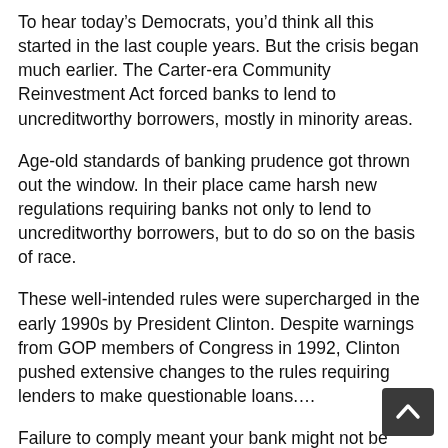To hear today's Democrats, you'd think all this started in the last couple years. But the crisis began much earlier. The Carter-era Community Reinvestment Act forced banks to lend to uncreditworthy borrowers, mostly in minority areas.
Age-old standards of banking prudence got thrown out the window. In their place came harsh new regulations requiring banks not only to lend to uncreditworthy borrowers, but to do so on the basis of race.
These well-intended rules were supercharged in the early 1990s by President Clinton. Despite warnings from GOP members of Congress in 1992, Clinton pushed extensive changes to the rules requiring lenders to make questionable loans.…
Failure to comply meant your bank might not be allowed to expand lending, add new branches or merge with other companies. Banks were given a so-called “CRA rating” that graded how diverse their lending portfolio was.